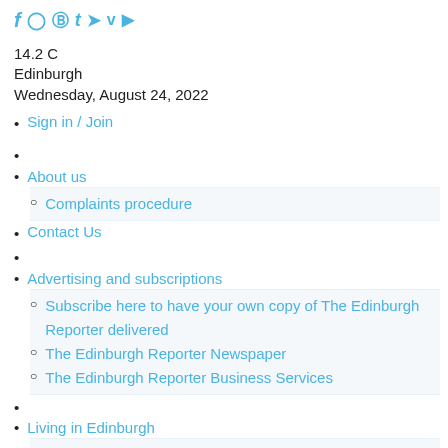[Figure (other): Social media icons row: Facebook (f), Instagram, Pinterest, Tumblr (t), Twitter, Vimeo (v), YouTube]
14.2 C
Edinburgh
Wednesday, August 24, 2022
Sign in / Join
About us
Complaints procedure
Contact Us
Advertising and subscriptions
Subscribe here to have your own copy of The Edinburgh Reporter delivered
The Edinburgh Reporter Newspaper
The Edinburgh Reporter Business Services
Living in Edinburgh
Art Galleries
Community Councils in Edinburgh
Members of Parliament